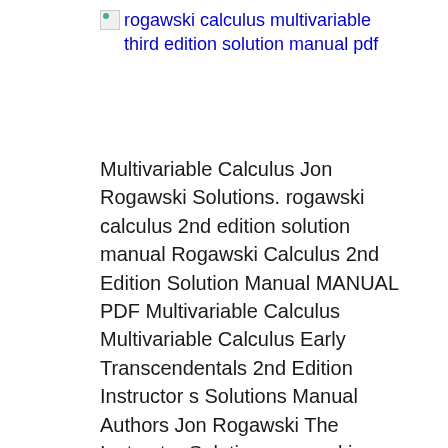[Figure (other): Broken image placeholder with alt text: rogawski calculus multivariable third edition solution manual pdf]
Multivariable Calculus Jon Rogawski Solutions. rogawski calculus 2nd edition solution manual Rogawski Calculus 2nd Edition Solution Manual MANUAL PDF Multivariable Calculus Multivariable Calculus Early Transcendentals 2nd Edition Instructor s Solutions Manual Authors Jon Rogawski The Instructor Solutions manual is available in PDF format for the following textbooks Amazon com Student Solutions Manual for 1 / 4. rogawski calculus 2nd, Calculus:Early Transcendentals, Single Variable Calculus Student Solitions Manual& Multivariable Calculus Student